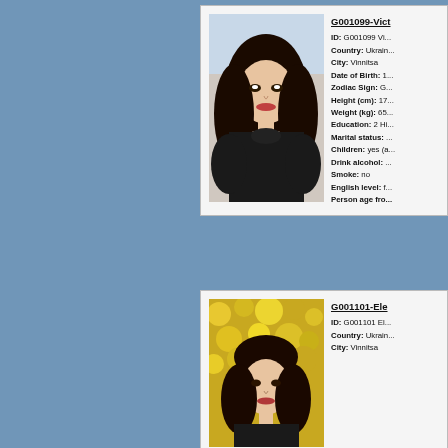[Figure (photo): Profile photo of Victoria - young woman with dark wavy hair wearing black turtleneck, outdoor winter background]
G001099-Vict... ID: G001099 Vi... Country: Ukrain... City: Vinnitsa Date of Birth: 1... Zodiac Sign: G... Height (cm): 17... Weight (kg): 65... Education: 2 Hi... Marital status:... Children: yes (a... Drink alcohol: ... Smoke: no English level: f... Person age fro...
[Figure (photo): Profile photo of Elena - woman outdoors with yellow flowers in background]
G001101-Ele... ID: G001101 El... Country: Ukrain... City: Vinnitsa